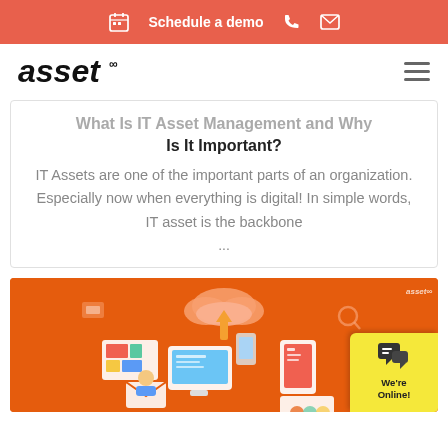Schedule a demo
[Figure (logo): asset∞ logo with italic bold text and infinity superscript]
What Is IT Asset Management and Why Is It Important?
IT Assets are one of the important parts of an organization. Especially now when everything is digital! In simple words, IT asset is the backbone ...
[Figure (illustration): Orange background illustration showing IT asset management concept with cloud, devices, computer monitor, tablet, envelope, and connected icons. Shows 'asset' watermark in top right.]